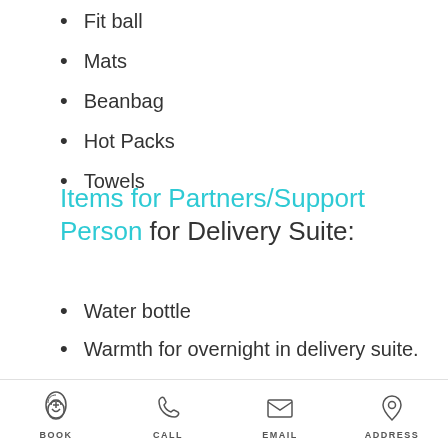Fit ball
Mats
Beanbag
Hot Packs
Towels
Items for Partners/Support Person for Delivery Suite:
Water bottle
Warmth for overnight in delivery suite.
Swimmers (board shorts/cozzie) for assistance with shower and bath
Comfy shoes
BOOK  CALL  EMAIL  ADDRESS